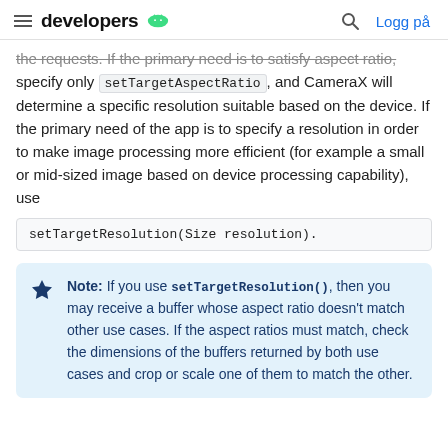developers [android logo] | [search icon] Logg på
the requests. If the primary need is to satisfy aspect ratio, specify only setTargetAspectRatio, and CameraX will determine a specific resolution suitable based on the device. If the primary need of the app is to specify a resolution in order to make image processing more efficient (for example a small or mid-sized image based on device processing capability), use
setTargetResolution(Size resolution).
Note: If you use setTargetResolution(), then you may receive a buffer whose aspect ratio doesn't match other use cases. If the aspect ratios must match, check the dimensions of the buffers returned by both use cases and crop or scale one of them to match the other.